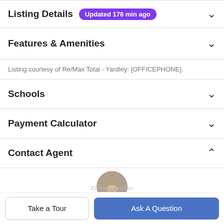Listing Details  Updated 176 min ago
Features & Amenities
Listing courtesy of Re/Max Total - Yardley: [OFFICEPHONE].
Schools
Payment Calculator
Contact Agent
[Figure (photo): Circular agent profile photo showing a person with blonde hair]
Take a Tour
Ask A Question